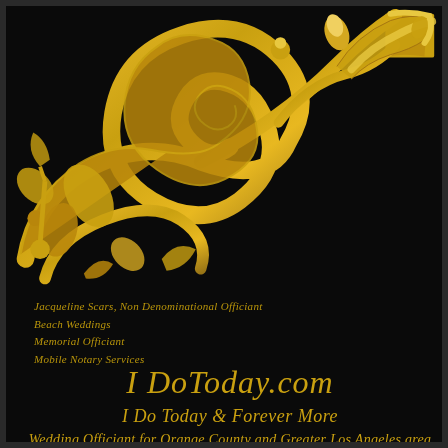[Figure (illustration): Gold ornamental floral scroll design in top-left corner against black background, with a small gold square icon in the top-right corner]
Jacqueline Scars, Non Denominational Officiant
Beach Weddings
Memorial Officiant
Mobile Notary Services
I DoToday.com
I Do Today & Forever More
Wedding Officiant for Orange County and Greater Los Angeles area